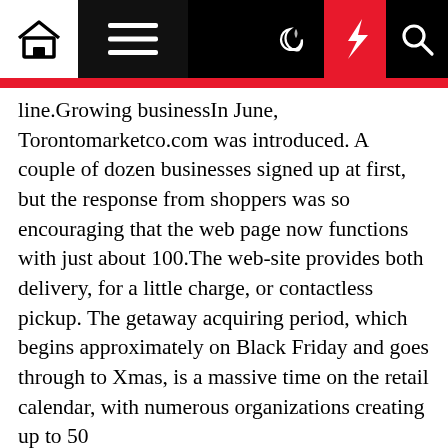[Navigation bar with home, menu, moon, lightning, and search icons]
line.Growing businessIn June, Torontomarketco.com was introduced. A couple of dozen businesses signed up at first, but the response from shoppers was so encouraging that the web page now functions with just about 100.The web-site provides both delivery, for a little charge, or contactless pickup. The getaway acquiring period, which begins approximately on Black Friday and goes through to Xmas, is a massive time on the retail calendar, with numerous organizations creating up to 50 {dgcf345e272ccae06ddf47bdd1d417e7fd8f81a9d196cc of their yearly revenue in this interval.Zuker's been delighted with the reaction from suppliers and customers."Just about anything that we can do for any individual … that is been compelled to near. I imagine it can be definitely essential to check out to support them [because] your favourite bakery on